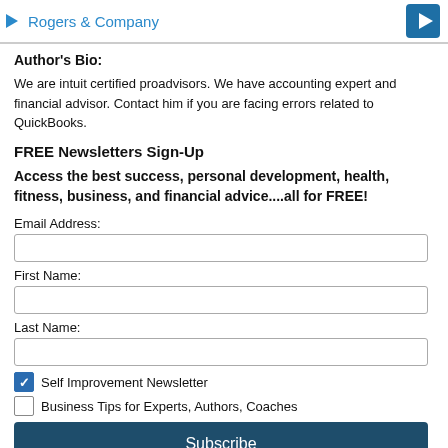Rogers & Company
Author's Bio:
We are intuit certified proadvisors. We have accounting expert and financial advisor. Contact him if you are facing errors related to QuickBooks.
FREE Newsletters Sign-Up
Access the best success, personal development, health, fitness, business, and financial advice....all for FREE!
Email Address:
First Name:
Last Name:
Self Improvement Newsletter
Business Tips for Experts, Authors, Coaches
Subscribe